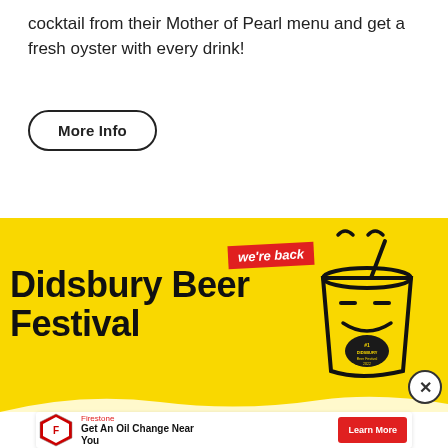cocktail from their Mother of Pearl menu and get a fresh oyster with every drink!
More Info
[Figure (illustration): Didsbury Beer Festival advertisement banner on yellow background featuring a cartoon beer cup character with 'we're back' red ribbon text and bold black 'Didsbury Beer Festival' title text]
[Figure (illustration): Firestone advertisement banner: 'Get An Oil Change Near You' with red Learn More button and Firestone shield logo]